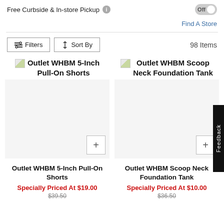Free Curbside & In-store Pickup
Off
Find A Store
Filters  Sort By  98 Items
[Figure (screenshot): Broken image placeholder for Outlet WHBM 5-Inch Pull-On Shorts product image]
Outlet WHBM 5-Inch Pull-On Shorts
[Figure (screenshot): Broken image placeholder for Outlet WHBM Scoop Neck Foundation Tank product image]
Outlet WHBM Scoop Neck Foundation Tank
Outlet WHBM 5-Inch Pull-On Shorts
Specially Priced At $19.00
$39.50
Outlet WHBM Scoop Neck Foundation Tank
Specially Priced At $10.00
$36.50